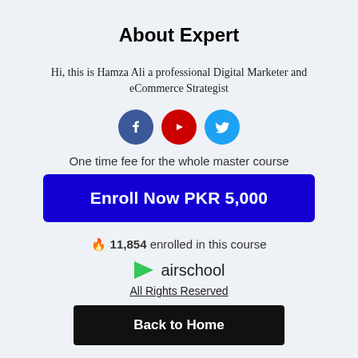About Expert
Hi, this is Hamza Ali a professional Digital Marketer and eCommerce Strategist
[Figure (illustration): Three social media icon circles: Facebook (dark blue), YouTube (red), Twitter (light blue)]
One time fee for the whole master course
Enroll Now PKR 5,000
🔥 11,854 enrolled in this course
[Figure (logo): Airschool logo: green play button triangle followed by text 'airschool']
All Rights Reserved
Back to Home